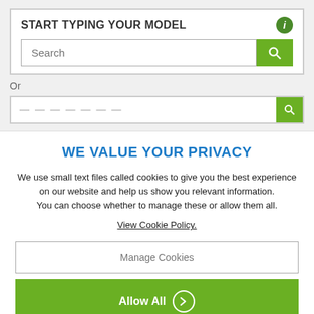START TYPING YOUR MODEL
[Figure (screenshot): Search input box with placeholder text 'Search' and a green search button with magnifying glass icon]
Or
[Figure (screenshot): Second search row with faded text and green button, partially visible]
WE VALUE YOUR PRIVACY
We use small text files called cookies to give you the best experience on our website and help us show you relevant information.
You can choose whether to manage these or allow them all.
View Cookie Policy.
Manage Cookies
Allow All